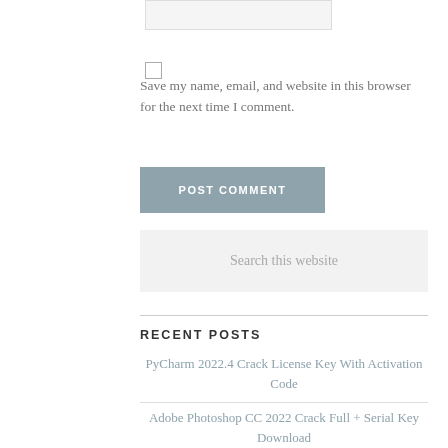[Figure (screenshot): A text input box (form field) at the top of the page, light gray background with border.]
[Figure (screenshot): A small checkbox (unchecked) for saving name/email/website.]
Save my name, email, and website in this browser for the next time I comment.
[Figure (screenshot): A blue-gray button labeled POST COMMENT.]
[Figure (screenshot): A search input box with placeholder text 'Search this website'.]
RECENT POSTS
PyCharm 2022.4 Crack License Key With Activation Code
Adobe Photoshop CC 2022 Crack Full + Serial Key Download
FL Studio 20.9.2.2963 Crack (Torrent + Reg